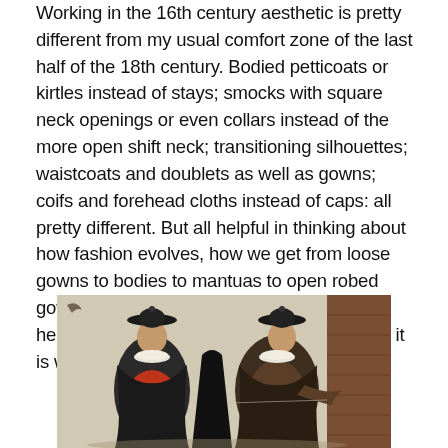Working in the 16th century aesthetic is pretty different from my usual comfort zone of the last half of the 18th century. Bodied petticoats or kirtles instead of stays; smocks with square neck openings or even collars instead of the more open shift neck; transitioning silhouettes; waistcoats and doublets as well as gowns; coifs and forehead cloths instead of caps: all pretty different. But all helpful in thinking about how fashion evolves, how we get from loose gowns to bodies to mantuas to open robed gowns to chemise gowns. Looking back can help us see the present more clearly, and so it is with fashion.
[Figure (photo): A painting depicting figures in 16th century dress, wearing dark cloaks and wide-brimmed flat hats with white ruffs around their necks. One figure wears a red garment underneath their dark cloak. The scene appears to be set outdoors in winter, with a light-colored stone or snow background and a brick wall visible on the right side.]